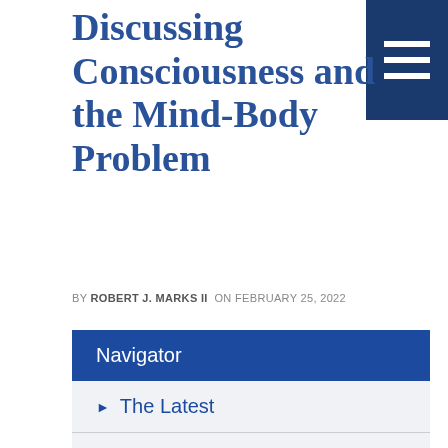Discussing Consciousness and the Mind-Body Problem
BY ROBERT J. MARKS II ON FEBRUARY 25, 2022
[Figure (other): Dark blue hamburger menu icon with three white horizontal lines on dark blue background]
Navigator
The Latest
Podcasts
Events